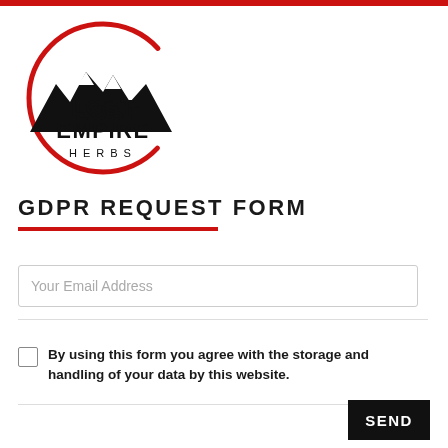[Figure (logo): Lost Empire Herbs logo — mountain silhouette inside a red circle with text LOST EMPIRE HERBS]
GDPR REQUEST FORM
Your Email Address
By using this form you agree with the storage and handling of your data by this website.
SEND